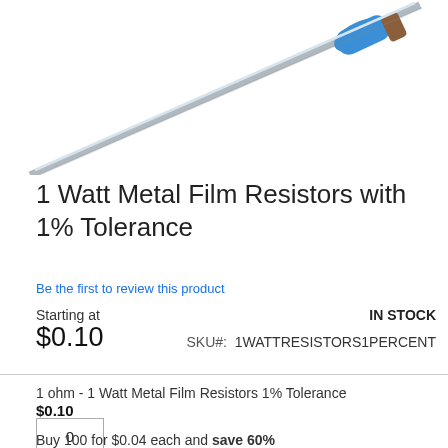[Figure (photo): Partial photo of a metal film resistor component with a blue and silver body shown diagonally against a white background]
1 Watt Metal Film Resistors with 1% Tolerance
Be the first to review this product
Starting at
$0.10
IN STOCK
SKU#:  1WATTRESISTORS1PERCENT
1 ohm - 1 Watt Metal Film Resistors 1% Tolerance
$0.10
0
Buy 100 for $0.04 each and save 60%